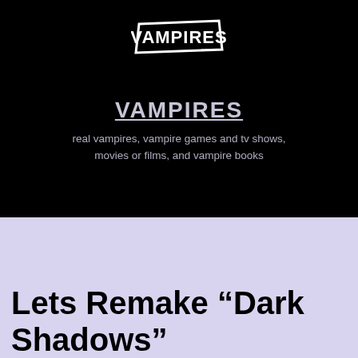[Figure (logo): VAMPIRES logo in white on black background, stylized hexagonal border around the word VAMPIRES]
VAMPIRES
real vampires, vampire games and tv shows, movies or films, and vampire books
Lets Remake “Dark Shadows”